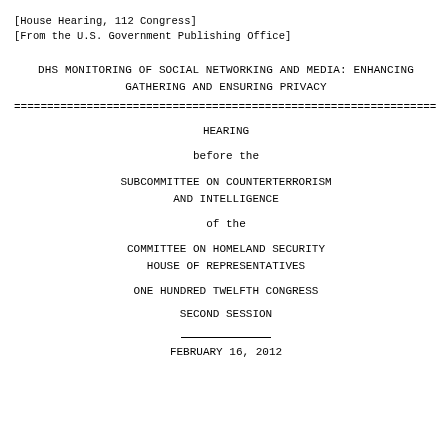[House Hearing, 112 Congress]
[From the U.S. Government Publishing Office]
DHS MONITORING OF SOCIAL NETWORKING AND MEDIA: ENHANCING GATHERING AND ENSURING PRIVACY
================================================================
HEARING

before the

SUBCOMMITTEE ON COUNTERTERRORISM
AND INTELLIGENCE

of the

COMMITTEE ON HOMELAND SECURITY
HOUSE OF REPRESENTATIVES

ONE HUNDRED TWELFTH CONGRESS

SECOND SESSION
FEBRUARY 16, 2012